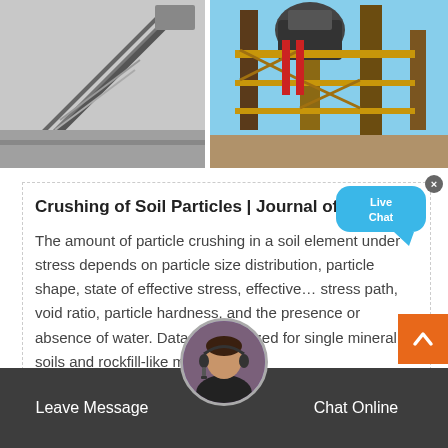[Figure (photo): Black and white photo of industrial conveyor belt or crane structure at an angle]
[Figure (photo): Color photo of industrial mining or crushing equipment facility with large machinery and scaffolding]
Crushing of Soil Particles | Journal of Geo…
The amount of particle crushing in a soil element under stress depends on particle size distribution, particle shape, state of effective stress, effective… stress path, void ratio, particle hardness, and the presence or absence of water. Data are analyzed for single mineral soils and rockfill-like materials
[Figure (other): Live Chat speech bubble button in blue with 'Live Chat' text and close X button]
[Figure (other): Orange scroll-to-top button with upward arrow chevron]
[Figure (photo): Customer service avatar with woman wearing headset microphone]
Leave Message   Chat Online